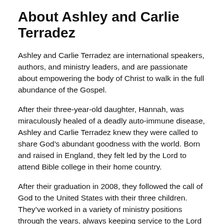About Ashley and Carlie Terradez
Ashley and Carlie Terradez are international speakers, authors, and ministry leaders, and are passionate about empowering the body of Christ to walk in the full abundance of the Gospel.
After their three-year-old daughter, Hannah, was miraculously healed of a deadly auto-immune disease, Ashley and Carlie Terradez knew they were called to share God’s abundant goodness with the world. Born and raised in England, they felt led by the Lord to attend Bible college in their home country.
After their graduation in 2008, they followed the call of God to the United States with their three children. They’ve worked in a variety of ministry positions through the years, always keeping service to the Lord the focal point of their marriage.
Ashley and Carlie were ordained in 2011 and founded Terradez Ministries shortly thereafter with a mandate to empower believers in the promises of God.